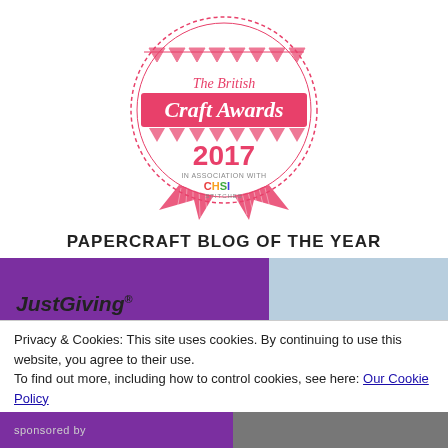[Figure (logo): The British Craft Awards 2017 logo — circular badge with banner reading 'Craft Awards', text 'The British', year '2017', 'IN ASSOCIATION WITH CHSI STITCHES', decorative bunting and ribbon design in pink/hot-pink]
PAPERCRAFT BLOG OF THE YEAR
[Figure (screenshot): JustGiving website banner — purple background on left with JustGiving logo in bold italic, landscape photo on right]
Privacy & Cookies: This site uses cookies. By continuing to use this website, you agree to their use.
To find out more, including how to control cookies, see here: Our Cookie Policy
Close and accept
sponsored by